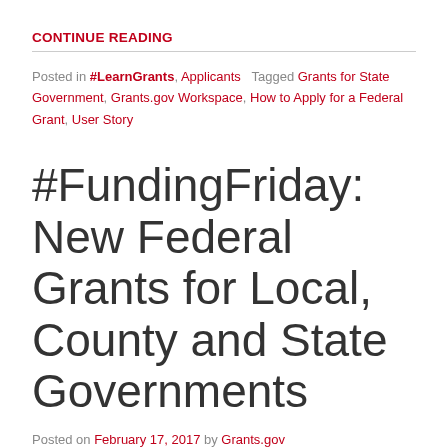CONTINUE READING
Posted in #LearnGrants, Applicants   Tagged Grants for State Government, Grants.gov Workspace, How to Apply for a Federal Grant, User Story
#FundingFriday: New Federal Grants for Local, County and State Governments
Posted on February 17, 2017 by Grants.gov